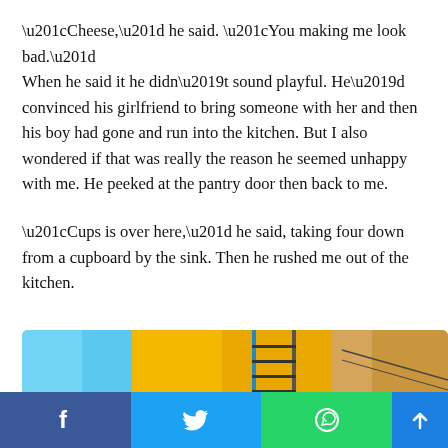“Cheese,” he said. “You making me look bad.” When he said it he didn’t sound playful. He’d convinced his girlfriend to bring someone with her and then his boy had gone and run into the kitchen. But I also wondered if that was really the reason he seemed unhappy with me. He peeked at the pantry door then back to me.
“Cups is over here,” he said, taking four down from a cupboard by the sink. Then he rushed me out of the kitchen.
[Figure (photo): Colorful exterior building photo showing yellow walls, a fire escape or ladder structure, and blue sky/architecture elements]
[Figure (other): Social sharing bar with Facebook, Twitter, WhatsApp, and scroll-up buttons]